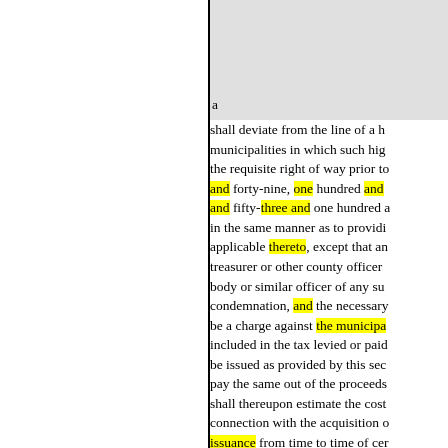a shall deviate from the line of a h municipalities in which such hig the requisite right of way prior to and forty-nine, one hundred and and fifty-three and one hundred in the same manner as to providi applicable thereto, except that an treasurer or other county officer body or similar officer of any su condemnation, and the necessary be a charge against the municipa included in the tax levied or paid be issued as provided by this sec pay the same out of the proceeds shall thereupon estimate the cost connection with the acquisition o issuance from time to time of cer